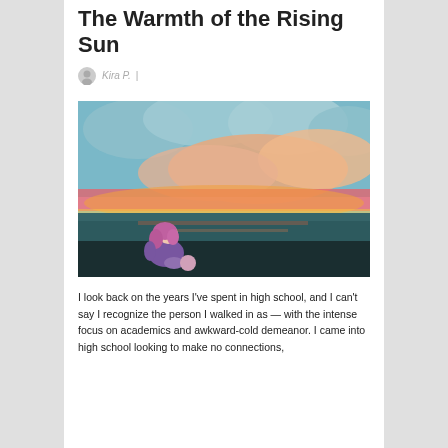The Warmth of the Rising Sun
Kira P. |
[Figure (illustration): Digital painting of an anime-style girl with purple/pink hair sitting on a dark ground, viewed from behind, looking at a dramatic sunset sky with orange, red, pink, and teal clouds over a dark body of water.]
I look back on the years I've spent in high school, and I can't say I recognize the person I walked in as — with the intense focus on academics and awkward-cold demeanor. I came into high school looking to make no connections,